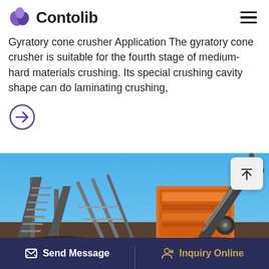Contolib
Gyratory cone crusher Application The gyratory cone crusher is suitable for the fourth stage of medium-hard materials crushing. Its special crushing cavity shape can do laminating crushing,
[Figure (photo): Industrial gyratory cone crusher machine in orange color with conveyor belts visible against blue sky]
Send Message | Inquiry Online